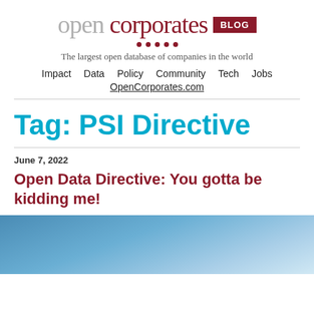opencorporates BLOG — The largest open database of companies in the world
Impact  Data  Policy  Community  Tech  Jobs  OpenCorporates.com
Tag: PSI Directive
June 7, 2022
Open Data Directive: You gotta be kidding me!
[Figure (photo): Photograph with blue sky background, partial view of a figure on the right side]